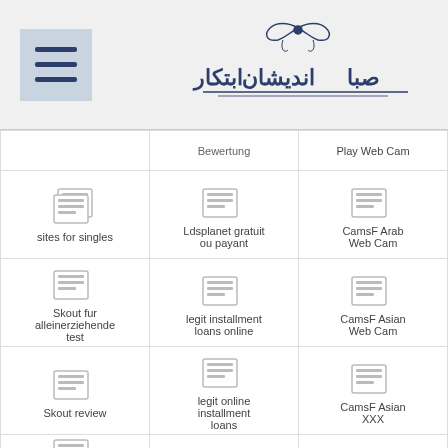Navigation header with hamburger menu and Arabic logo
| Col1 | Col2 | Col3 |
| --- | --- | --- |
| (partial) bewertung | Play Web Cam |
| sites for singles | Ldsplanet gratuit ou payant | CamsF Arab Web Cam |
| Skout fur alleinerziehende test | legit installment loans online | CamsF Asian Web Cam |
| Skout review | legit online installment loans | CamsF Asian XXX |
| Slutroulette reviews | (icon) | (icon) |